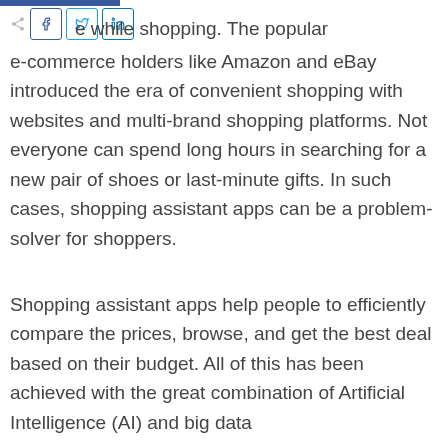ience is one of the most crucial elements … while shopping. The popular e-commerce holders like Amazon and eBay introduced the era of convenient shopping with websites and multi-brand shopping platforms. Not everyone can spend long hours in searching for a new pair of shoes or last-minute gifts. In such cases, shopping assistant apps can be a problem-solver for shoppers.
Shopping assistant apps help people to efficiently compare the prices, browse, and get the best deal based on their budget. All of this has been achieved with the great combination of Artificial Intelligence (AI) and big data